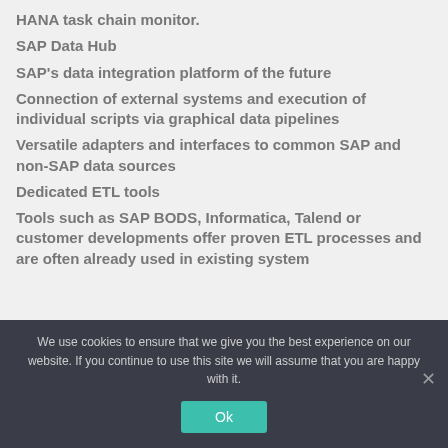HANA task chain monitor.
SAP Data Hub
SAP's data integration platform of the future
Connection of external systems and execution of individual scripts via graphical data pipelines
Versatile adapters and interfaces to common SAP and non-SAP data sources
Dedicated ETL tools
Tools such as SAP BODS, Informatica, Talend or customer developments offer proven ETL processes and are often already used in existing system
We use cookies to ensure that we give you the best experience on our website. If you continue to use this site we will assume that you are happy with it.